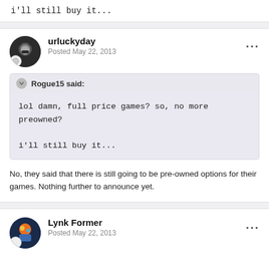i'll still buy it...
urluckyday
Posted May 22, 2013
Rogue15 said:
lol damn, full price games? so, no more preowned?
i'll still buy it...
No, they said that there is still going to be pre-owned options for their games. Nothing further to announce yet.
Lynk Former
Posted May 22, 2013